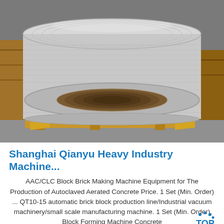[Figure (photo): Large industrial metal coil (roll of sheet metal or similar material) sitting on a wooden pallet in a factory/warehouse setting. The coil is silver/metallic in color with a hollow circular center visible from the side.]
Shanghai Qianyu Heavy Industry Machine...
AAC/CLC Block Brick Making Machine Equipment for The Production of Autoclaved Aerated Concrete Price. 1 Set (Min. Order) ... QT10-15 automatic brick block production line/Industrial vacuum machinery/small scale manufacturing machine. 1 Set (Min. Order) Block Forming Machine Concrete